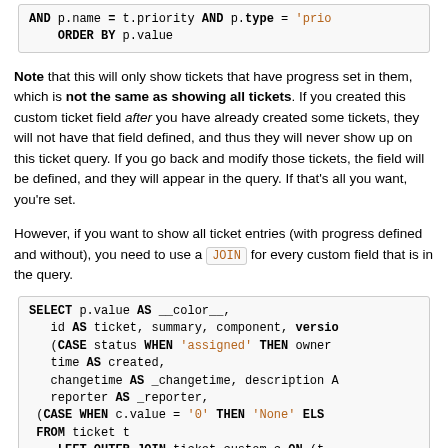[Figure (screenshot): Code block showing partial SQL query with AND p.name = t.priority AND p.type = 'prio... ORDER BY p.value]
Note that this will only show tickets that have progress set in them, which is not the same as showing all tickets. If you created this custom ticket field after you have already created some tickets, they will not have that field defined, and thus they will never show up on this ticket query. If you go back and modify those tickets, the field will be defined, and they will appear in the query. If that's all you want, you're set.
However, if you want to show all ticket entries (with progress defined and without), you need to use a JOIN for every custom field that is in the query.
[Figure (screenshot): SQL code block: SELECT p.value AS __color__, id AS ticket, summary, component, version (CASE status WHEN 'assigned' THEN owner... time AS created, changetime AS _changetime, description A... reporter AS _reporter, (CASE WHEN c.value = '0' THEN 'None' ELS... FROM ticket t LEFT OUTER JOIN ticket_custom c ON (t... JOIN enum p ON p.name = t.priority AN... WHERE status IN ('new', 'assigned', 'reo... ORDER BY p.value, milestone, severity, t...]
Note in particular the LEFT OUTER JOIN statement here.